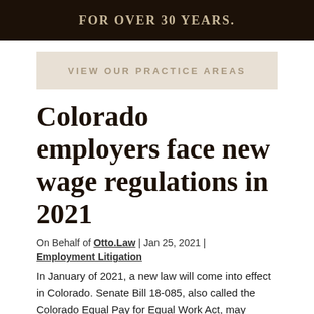FOR OVER 30 YEARS.
VIEW OUR PRACTICE AREAS
Colorado employers face new wage regulations in 2021
On Behalf of Otto.Law | Jan 25, 2021 |
Employment Litigation
In January of 2021, a new law will come into effect in Colorado. Senate Bill 18-085, also called the Colorado Equal Pay for Equal Work Act, may